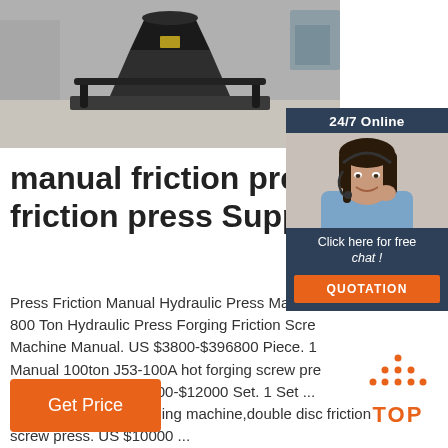[Figure (photo): Industrial manual friction press machine photographed in a factory setting, dark grey/black metal equipment on floor]
[Figure (other): Customer service chat widget showing a woman with headset, 24/7 Online header, Click here for free chat text, and QUOTATION button]
manual friction press, manual friction press Suppliers and
Press Friction Manual Hydraulic Press Machine 800 Ton Hydraulic Press Forging Friction Screw Machine Manual. US $3800-$396800 Piece. 1 Manual 100ton J53-100A hot forging screw press screw press. US $11000-$12000 Set. 1 Set ... screw,bolts,fittings forging machine,double disc friction screw press. US $10000 ...
[Figure (other): TOP badge icon with orange dots forming a triangle above the word TOP in orange bold text]
Get Price